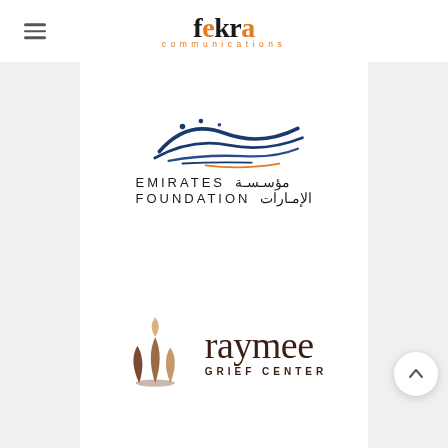fekra communications
[Figure (logo): Emirates Foundation logo with Arabic calligraphy script above bilingual text reading EMIRATES / مؤسسة and FOUNDATION / الإمارات]
[Figure (logo): Raymee Grief Center logo with stylized flame/leaf icon in tan and brown tones, with the word 'raymee' in serif font and 'GRIEF CENTER' in small caps below]